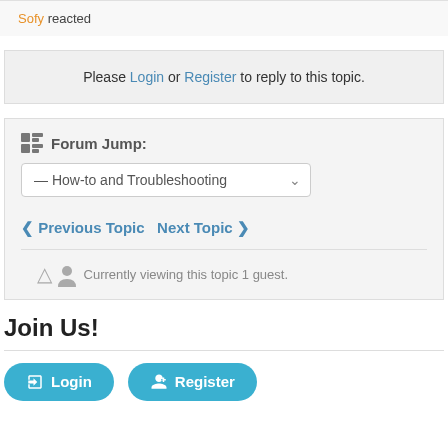Sofy reacted
Please Login or Register to reply to this topic.
Forum Jump:
— How-to and Troubleshooting
Previous Topic  Next Topic
Currently viewing this topic 1 guest.
Join Us!
Login  Register